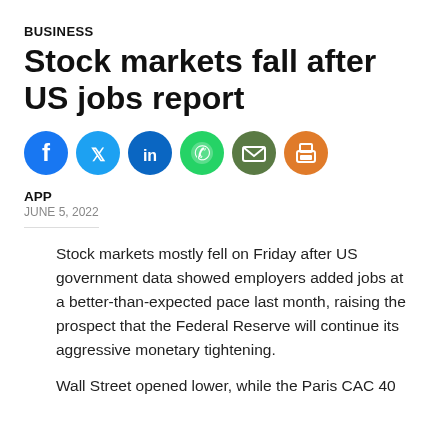BUSINESS
Stock markets fall after US jobs report
[Figure (other): Row of social sharing icons: Facebook (blue), Twitter (light blue), LinkedIn (blue), WhatsApp (green), Email (dark green), Print (orange)]
APP
JUNE 5, 2022
Stock markets mostly fell on Friday after US government data showed employers added jobs at a better-than-expected pace last month, raising the prospect that the Federal Reserve will continue its aggressive monetary tightening.
Wall Street opened lower, while the Paris CAC 40